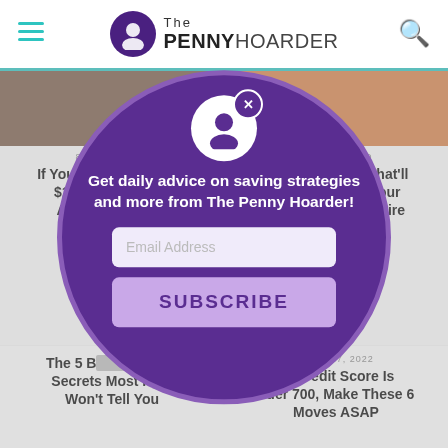The PENNY HOARDER
8 HOURS AGO
If You Have More Than $1,000 in Your Checking Account, Make These Money Moves
4 HOURS AGO
10 Quick Steps That'll Have You Managing Your Money Like A Millionaire
[Figure (screenshot): Email subscription modal overlay on The Penny Hoarder website. Purple circle modal with avatar icon, close button, text 'Get daily advice on saving strategies and more from The Penny Hoarder!', email address input field, and SUBSCRIBE button.]
Get daily advice on saving strategies and more from The Penny Hoarder!
Email Address
SUBSCRIBE
The 5 Biggest Money Secrets Most Rich People Won't Tell You
AUGUST 17, 2022
If Your Credit Score Is Under 700, Make These 6 Moves ASAP